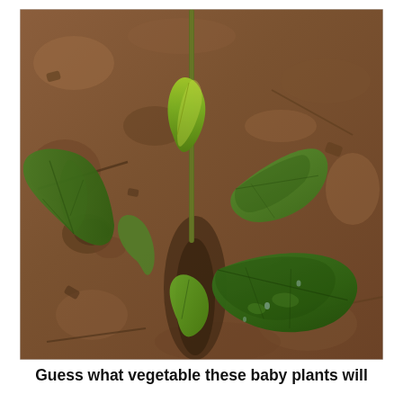[Figure (photo): Close-up photograph of young vegetable seedlings (baby plants) growing in dry, crumbly brown soil. The plants have green lobed leaves with serrated edges, some showing slight yellowing at the center. Stems are thin and there are multiple leaves visible at different growth stages.]
Guess what vegetable these baby plants will